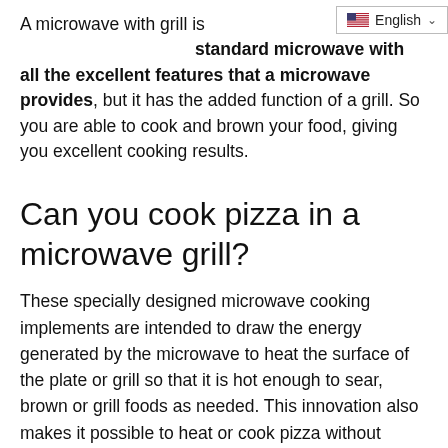A microwave with grill is standard microwave with all the excellent features that a microwave provides, but it has the added function of a grill. So you are able to cook and brown your food, giving you excellent cooking results.
Can you cook pizza in a microwave grill?
These specially designed microwave cooking implements are intended to draw the energy generated by the microwave to heat the surface of the plate or grill so that it is hot enough to sear, brown or grill foods as needed. This innovation also makes it possible to heat or cook pizza without soggy